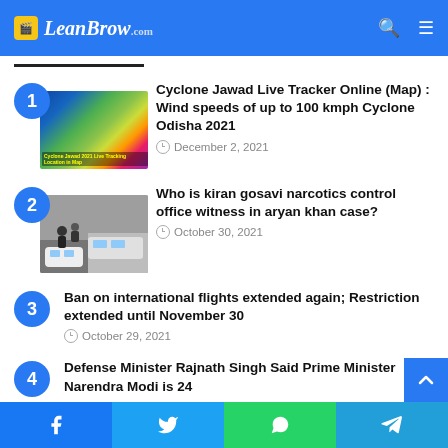LeanBrow.com
1. Cyclone Jawad Live Tracker Online (Map) : Wind speeds of up to 100 kmph Cyclone Odisha 2021 — December 2, 2021
2. Who is kiran gosavi narcotics control office witness in aryan khan case? — October 30, 2021
3. Ban on international flights extended again; Restriction extended until November 30 — October 29, 2021
4. Defense Minister Rajnath Singh Said Prime Minister Narendra Modi is 24 …
Facebook | Twitter | WhatsApp | Telegram